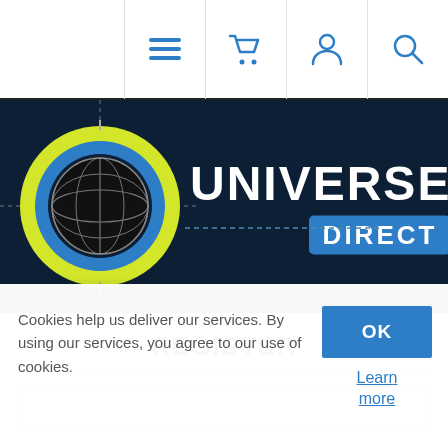Navigation icons: menu, cart, account, search
[Figure (logo): Universe Direct logo — globe icon with yellow/blue rings on dark navy background, white bold text 'UNIVERSE' and blue rounded rectangle with white text 'DIRECT']
REGISTER
Cookies help us deliver our services. By using our services, you agree to our use of cookies.
OK
Learn more